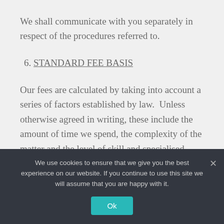We shall communicate with you separately in respect of the procedures referred to.
6. STANDARD FEE BASIS
Our fees are calculated by taking into account a series of factors established by law.  Unless otherwise agreed in writing, these include the amount of time we spend, the complexity of the matter and the level of skill and specialised
We use cookies to ensure that we give you the best experience on our website. If you continue to use this site we will assume that you are happy with it.